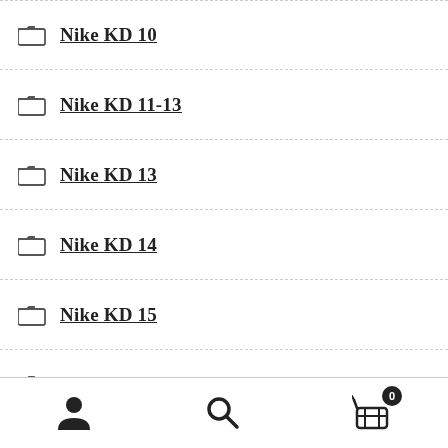Nike KD 10
Nike KD 11-13
Nike KD 13
Nike KD 14
Nike KD 15
Nike KD 6
Nike Kobe 1 Protro
Nike Kobe 11
User | Search | Cart (0)